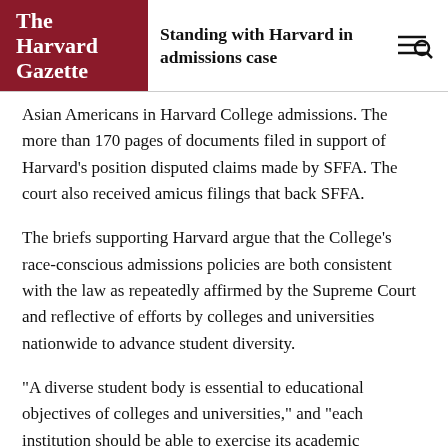The Harvard Gazette — Standing with Harvard in admissions case
Asian Americans in Harvard College admissions. The more than 170 pages of documents filed in support of Harvard's position disputed claims made by SFFA. The court also received amicus filings that back SFFA.
The briefs supporting Harvard argue that the College's race-conscious admissions policies are both consistent with the law as repeatedly affirmed by the Supreme Court and reflective of efforts by colleges and universities nationwide to advance student diversity.
“A diverse student body is essential to educational objectives of colleges and universities,” and “each institution should be able to exercise its academic judgment to determine within broad limits the